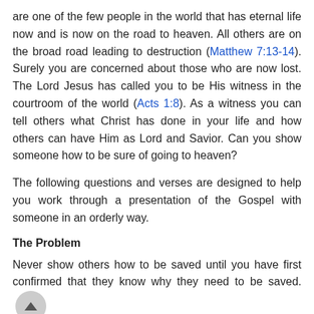are one of the few people in the world that has eternal life now and is now on the road to heaven. All others are on the broad road leading to destruction (Matthew 7:13-14). Surely you are concerned about those who are now lost. The Lord Jesus has called you to be His witness in the courtroom of the world (Acts 1:8). As a witness you can tell others what Christ has done in your life and how others can have Him as Lord and Savior. Can you show someone how to be sure of going to heaven?
The following questions and verses are designed to help you work through a presentation of the Gospel with someone in an orderly way.
The Problem
Never show others how to be saved until you have first confirmed that they know why they need to be saved.
1. Who is a sinner and how is sin defined? (Romans 3:23; Isaiah 53:6)